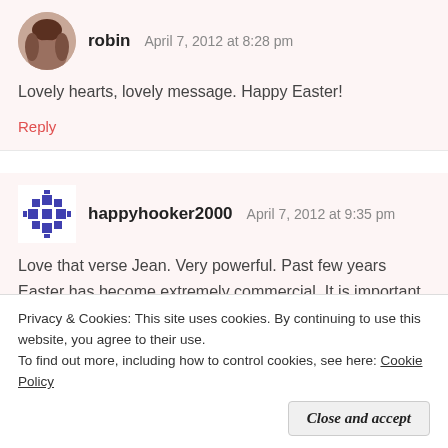[Figure (photo): Avatar photo of user robin — woman with dark hair]
robin   April 7, 2012 at 8:28 pm
Lovely hearts, lovely message. Happy Easter!
Reply
[Figure (illustration): Avatar icon for happyhooker2000 — blue geometric cross-stitch style pattern]
happyhooker2000   April 7, 2012 at 9:35 pm
Love that verse Jean. Very powerful. Past few years Easter has become extremely commercial. It is important to set this aside and thank Jesus for his free
Privacy & Cookies: This site uses cookies. By continuing to use this website, you agree to their use.
To find out more, including how to control cookies, see here: Cookie Policy
Close and accept
it out. But looking forward to getting Jesus back in this